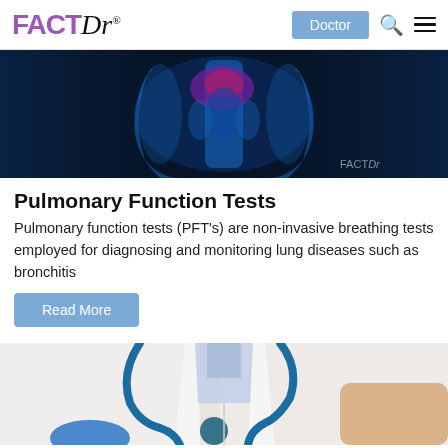FACTDr — Doctor (button), Search, Menu
[Figure (photo): Medical illustration of a human torso/spine glowing blue with highlighted red area, on dark blue background with 'FACTDr' watermark]
Pulmonary Function Tests
Pulmonary function tests (PFT's) are non-invasive breathing tests employed for diagnosing and monitoring lung diseases such as bronchitis
Read More
[Figure (photo): Doctor wearing white coat with a blue stethoscope, examining or treating a patient]